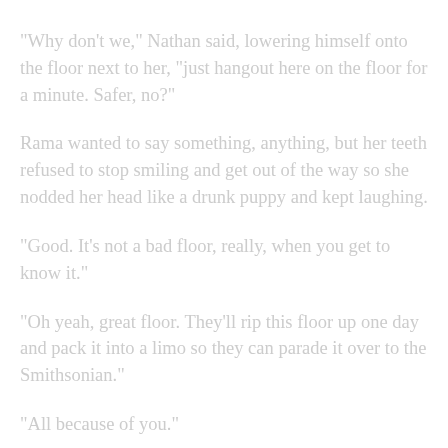"Why don't we," Nathan said, lowering himself onto the floor next to her, "just hangout here on the floor for a minute. Safer, no?"
Rama wanted to say something, anything, but her teeth refused to stop smiling and get out of the way so she nodded her head like a drunk puppy and kept laughing.
"Good. It's not a bad floor, really, when you get to know it."
"Oh yeah, great floor. They'll rip this floor up one day and pack it into a limo so they can parade it over to the Smithsonian."
"All because of you."